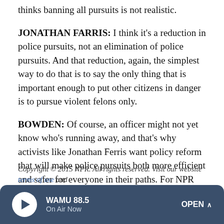thinks banning all pursuits is not realistic.
JONATHAN FARRIS: I think it's a reduction in police pursuits, not an elimination of police pursuits. And that reduction, again, the simplest way to do that is to say the only thing that is important enough to put other citizens in danger is to pursue violent felons only.
BOWDEN: Of course, an officer might not yet know who's running away, and that's why activists like Jonathan Ferris want policy reform that will make police pursuits both more efficient and safer for everyone in their paths. For NPR News, I'm Bridgit Bowden in Kansas City.
Copyright © 2015 NPR. All rights reserved. Visit our website terms of use and
[Figure (other): WAMU 88.5 radio player bar with play button, station name, On Air Now label, and OPEN button]